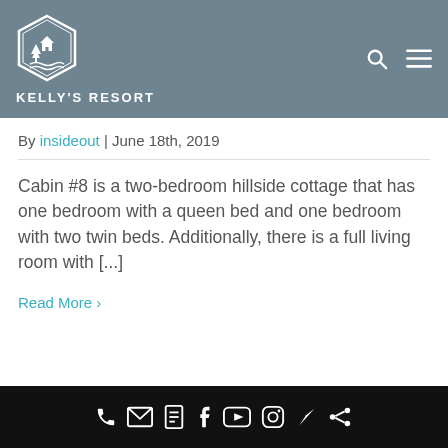KELLY'S RESORT
By insideout | June 18th, 2019
Cabin #8 is a two-bedroom hillside cottage that has one bedroom with a queen bed and one bedroom with two twin beds. Additionally, there is a full living room with [...]
Read More >
Social icons: phone, email, form, facebook, youtube, instagram, location, share